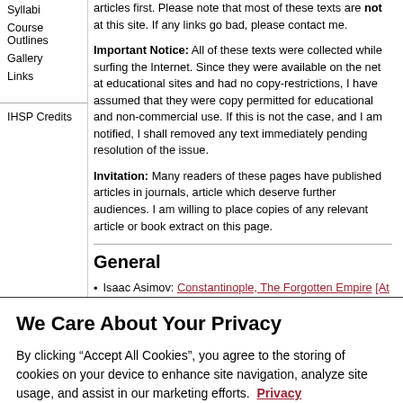Syllabi
Course Outlines
Gallery
Links
IHSP Credits
articles first. Please note that most of these texts are not at this site. If any links go bad, please contact me.
Important Notice: All of these texts were collected while surfing the Internet. Since they were available on the net at educational sites and had no copy-restrictions, I have assumed that they were copy permitted for educational and non-commercial use. If this is not the case, and I am notified, I shall removed any text immediately pending resolution of the issue.
Invitation: Many readers of these pages have published articles in journals, article which deserve further audiences. I am willing to place copies of any relevant article or book extract on this page.
General
Isaac Asimov: Constantinople, The Forgotten Empire [At Internet Archive, from Cornell]
We Care About Your Privacy
By clicking “Accept All Cookies”, you agree to the storing of cookies on your device to enhance site navigation, analyze site usage, and assist in our marketing efforts.  Privacy Policy